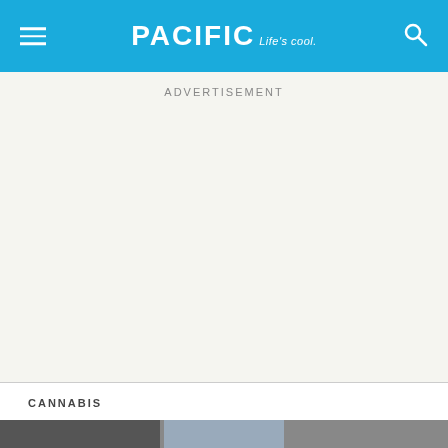PACIFIC Life's cool.
ADVERTISEMENT
CANNABIS
Mind your canna-manners